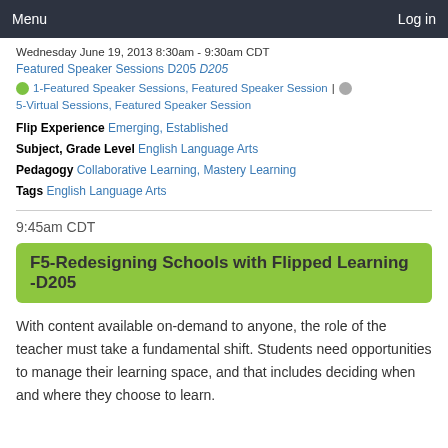Menu    Log in
Wednesday June 19, 2013 8:30am - 9:30am CDT
Featured Speaker Sessions D205 D205
1-Featured Speaker Sessions, Featured Speaker Session | 5-Virtual Sessions, Featured Speaker Session
Flip Experience Emerging, Established
Subject, Grade Level English Language Arts
Pedagogy Collaborative Learning, Mastery Learning
Tags English Language Arts
9:45am CDT
F5-Redesigning Schools with Flipped Learning -D205
With content available on-demand to anyone, the role of the teacher must take a fundamental shift. Students need opportunities to manage their learning space, and that includes deciding when and where they choose to learn.